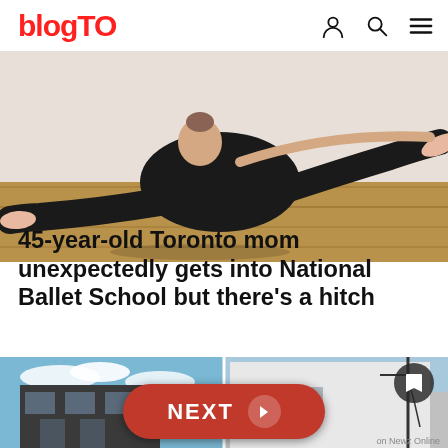blogTO
[Figure (photo): Ballerina in black leotard and tights sitting on a wooden floor adjusting her pink pointe shoes]
45-year-old Toronto mom unexpectedly gets into National Ballet School but there's a hitch
[Figure (photo): Side-by-side images of urban buildings: a dark grey building on left with blue sky, and a white building on right]
NEXT
on Newz Online